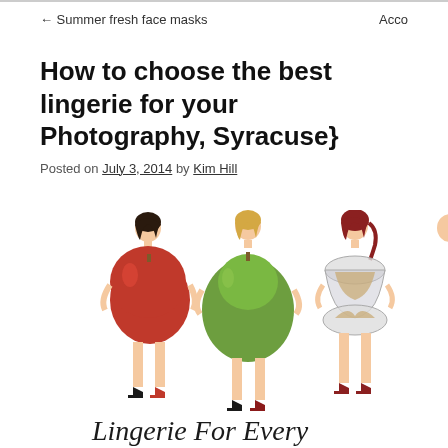← Summer fresh face masks   Acco…
How to choose the best lingerie for your Photography, Syracuse}
Posted on July 3, 2014 by Kim Hill
[Figure (illustration): Fashion illustration of women with different body shapes represented by fruits (apple, pear, hourglass) wearing lingerie, with cursive text 'Lingerie For Every' at the bottom.]